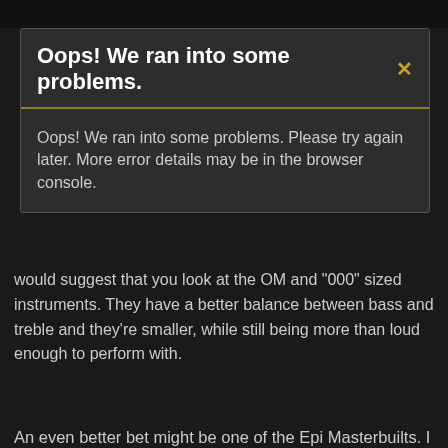Navigation bar (browser UI)
Oops! We ran into some problems.
Oops! We ran into some problems. Please try again later. More error details may be in the browser console.
would suggest that you look at the OM and "000" sized instruments. They have a better balance between bass and treble and they're smaller, while still being more than loud enough to perform with.
An even better bet might be one of the Epi Masterbuilts. I own own one of these EF500RA guitars and I'm more than happy with mine. In fact, my Epi is actually better built and sounds better and has a nocer neck, than any Martin or Yamaha that I've owned, including my Martin D-41 or my OM 28 and it cost a lot less, at $800 OTD.
[Figure (photo): A guitar lying in green grass, showing the neck and headstock from above.]